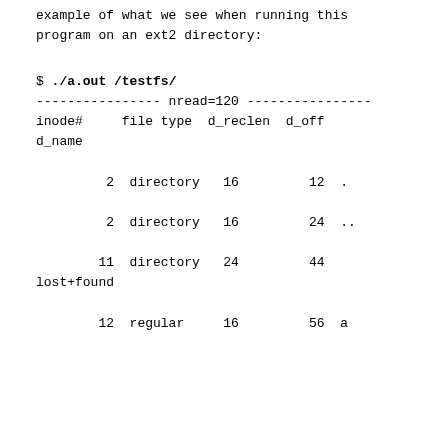example of what we see when running this program on an ext2 directory:
$ ./a.out /testfs/
---------------- nread=120 ----------------
inode#    file type  d_reclen  d_off  d_name

         2  directory   16         12  .

         2  directory   16         24  ..

        11  directory   24         44  lost+found

        12  regular     16         56  a